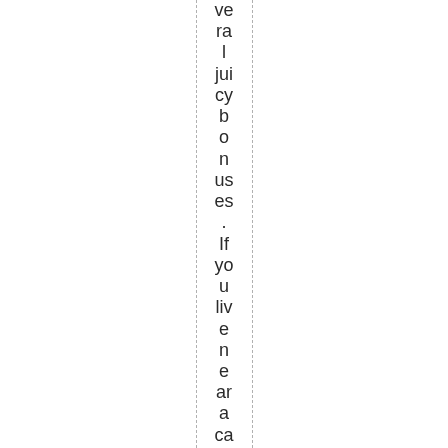ve ra l jui cy b o n us es . If yo u liv e n e ar a ca si n o, yo u ar e in ex